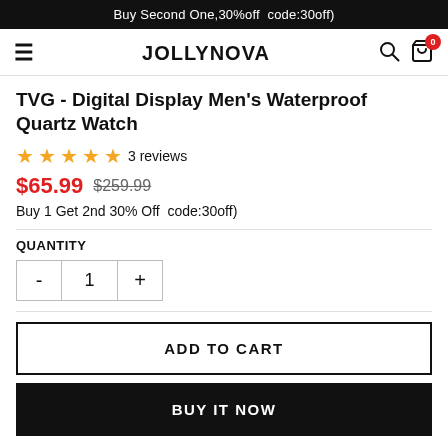Buy Second One,30%off  code:30off)
JOLLYNOVA
TVG - Digital Display Men's Waterproof Quartz Watch
★★★★★ 3 reviews
$65.99  $259.99
Buy 1 Get 2nd 30% Off  code:30off)
QUANTITY
- 1 +
ADD TO CART
BUY IT NOW